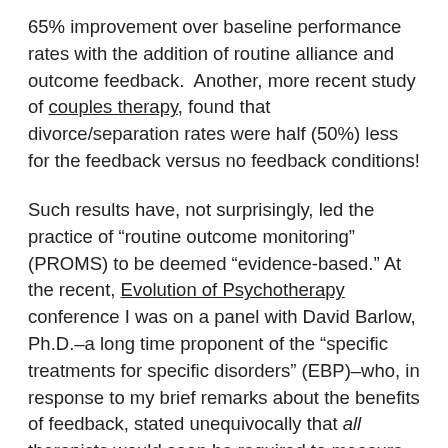65% improvement over baseline performance rates with the addition of routine alliance and outcome feedback.  Another, more recent study of couples therapy, found that divorce/separation rates were half (50%) less for the feedback versus no feedback conditions!
Such results have, not surprisingly, led the practice of "routine outcome monitoring" (PROMS) to be deemed "evidence-based." At the recent, Evolution of Psychotherapy conference I was on a panel with David Barlow, Ph.D.–a long time proponent of the "specific treatments for specific disorders" (EBP)–who, in response to my brief remarks about the benefits of feedback, stated unequivocally that all therapists would soon be required to measure and monitor the outcome of their clinical